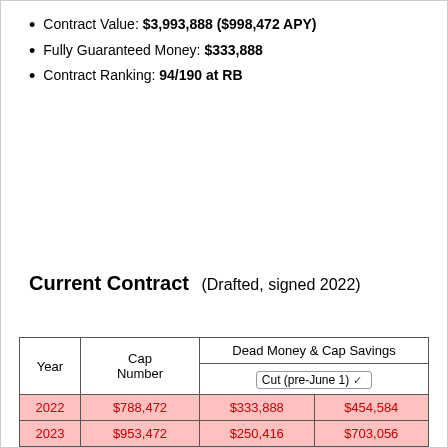Contract Value: $3,993,888 ($998,472 APY)
Fully Guaranteed Money: $333,888
Contract Ranking: 94/190 at RB
Current Contract (Drafted, signed 2022)
| Year | Cap Number | Dead Money & Cap Savings Cut (pre-June 1) |
| --- | --- | --- |
| 2022 | $788,472 | $333,888 | $454,584 |
| 2023 | $953,472 | $250,416 | $703,056 |